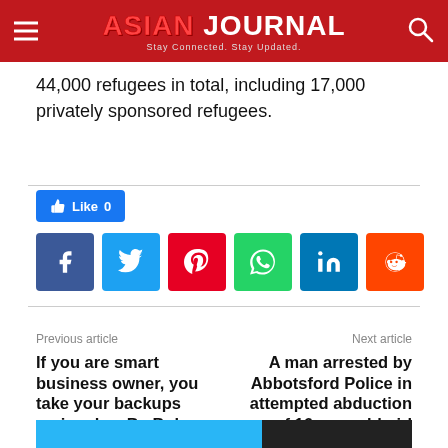ASIAN JOURNAL — Stay Connected. Stay Updated.
44,000 refugees in total, including 17,000 privately sponsored refugees.
[Figure (infographic): Facebook Like button showing 0 likes, followed by a row of social sharing icons: Facebook, Twitter, Pinterest, WhatsApp, LinkedIn, Reddit]
Previous article
If you are smart business owner, you take your backups seriously – By Bob Milliken
Next article
A man arrested by Abbotsford Police in attempted abduction case of 16-year old girl